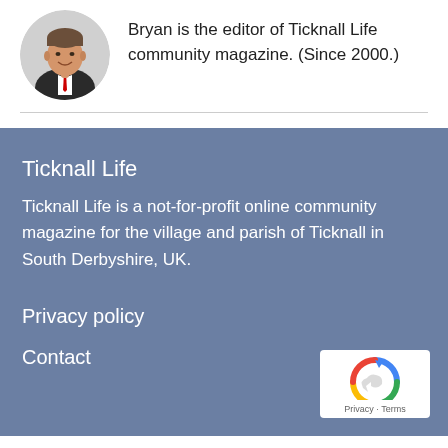[Figure (photo): Circular profile photo of a man in a suit with a red tie, smiling]
Bryan is the editor of Ticknall Life community magazine. (Since 2000.)
Ticknall Life
Ticknall Life is a not-for-profit online community magazine for the village and parish of Ticknall in South Derbyshire, UK.
Privacy policy
Contact
[Figure (logo): Google reCAPTCHA badge with Privacy and Terms links]